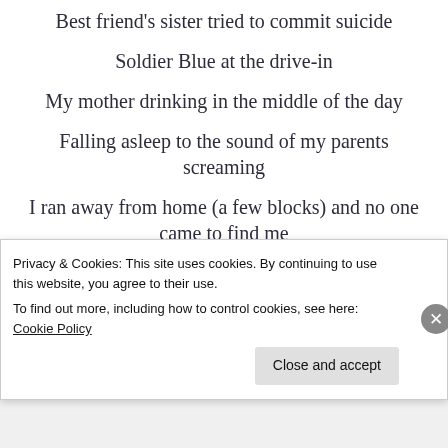Best friend’s sister tried to commit suicide
Soldier Blue at the drive-in
My mother drinking in the middle of the day
Falling asleep to the sound of my parents screaming
I ran away from home (a few blocks) and no one came to find me
Breaking my arm and no one caring
Privacy & Cookies: This site uses cookies. By continuing to use this website, you agree to their use.
To find out more, including how to control cookies, see here: Cookie Policy
Close and accept